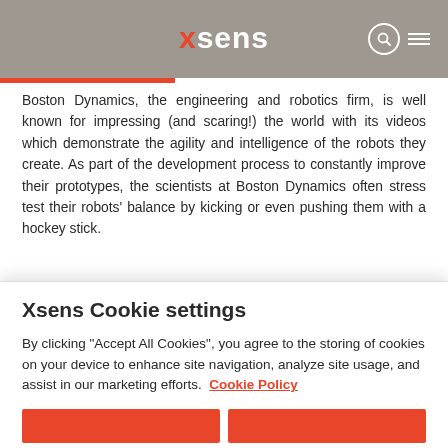xsens
Boston Dynamics, the engineering and robotics firm, is well known for impressing (and scaring!) the world with its videos which demonstrate the agility and intelligence of the robots they create. As part of the development process to constantly improve their prototypes, the scientists at Boston Dynamics often stress test their robots' balance by kicking or even pushing them with a hockey stick.
2019 June the internet was fooled into thinking that
Xsens Cookie settings
By clicking "Accept All Cookies", you agree to the storing of cookies on your device to enhance site navigation, analyze site usage, and assist in our marketing efforts.  Cookie Policy